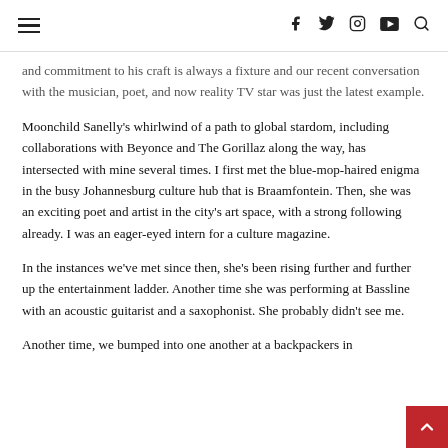[hamburger menu] [f] [twitter] [instagram] [youtube] [search]
and commitment to his craft is always a fixture and our recent conversation with the musician, poet, and now reality TV star was just the latest example.
Moonchild Sanelly's whirlwind of a path to global stardom, including collaborations with Beyonce and The Gorillaz along the way, has intersected with mine several times. I first met the blue-mop-haired enigma in the busy Johannesburg culture hub that is Braamfontein. Then, she was an exciting poet and artist in the city's art space, with a strong following already. I was an eager-eyed intern for a culture magazine.
In the instances we've met since then, she's been rising further and further up the entertainment ladder. Another time she was performing at Bassline with an acoustic guitarist and a saxophonist. She probably didn't see me.
Another time, we bumped into one another at a backpackers in